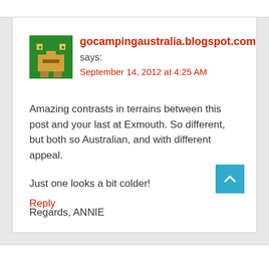[Figure (illustration): Pixel art avatar icon: green background with yellow/tan robot-like figure]
gocampingaustralia.blogspot.com
says:
September 14, 2012 at 4:25 AM
Amazing contrasts in terrains between this post and your last at Exmouth. So different, but both so Australian, and with different appeal.

Just one looks a bit colder!

Regards, ANNIE
Reply